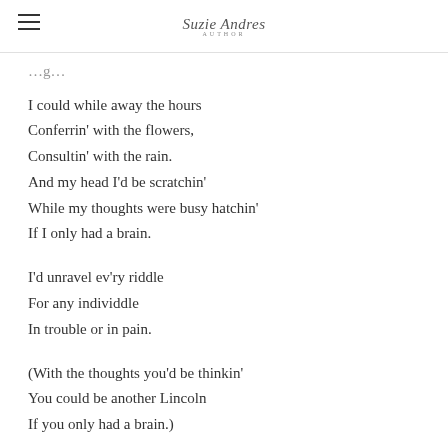Suzie Andres AUTHOR
I could while away the hours
Conferrin' with the flowers,
Consultin' with the rain.
And my head I'd be scratchin'
While my thoughts were busy hatchin'
If I only had a brain.

I'd unravel ev'ry riddle
For any individdle
In trouble or in pain.

(With the thoughts you'd be thinkin'
You could be another Lincoln
If you only had a brain.)

Oh, I, could tell you why
The ocean's near the shore…